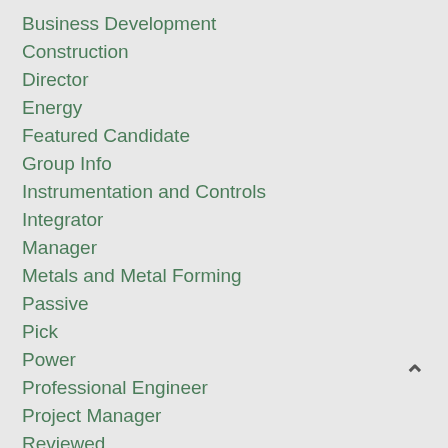Business Development
Construction
Director
Energy
Featured Candidate
Group Info
Instrumentation and Controls
Integrator
Manager
Metals and Metal Forming
Passive
Pick
Power
Professional Engineer
Project Manager
Reviewed